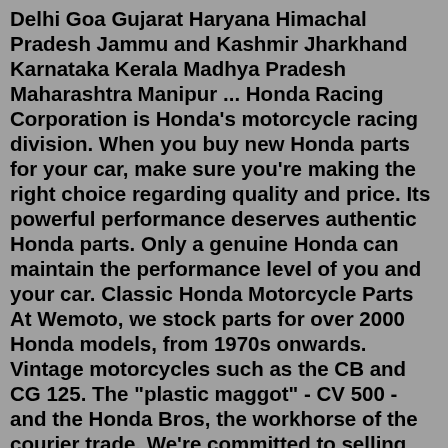Delhi Goa Gujarat Haryana Himachal Pradesh Jammu and Kashmir Jharkhand Karnataka Kerala Madhya Pradesh Maharashtra Manipur ... Honda Racing Corporation is Honda's motorcycle racing division. When you buy new Honda parts for your car, make sure you're making the right choice regarding quality and price. Its powerful performance deserves authentic Honda parts. Only a genuine Honda can maintain the performance level of you and your car. Classic Honda Motorcycle Parts At Wemoto, we stock parts for over 2000 Honda models, from 1970s onwards. Vintage motorcycles such as the CB and CG 125. The "plastic maggot" - CV 500 - and the Honda Bros, the workhorse of the courier trade. We're committed to selling high-quality durable classic Honda spares.Honda Racing Corporation is Honda's motorcycle racing division. When you buy new Honda parts for your car, make sure you're making the right choice regarding quality and price. Its powerful performance deserves authentic Honda parts. Only a genuine Honda can maintain the